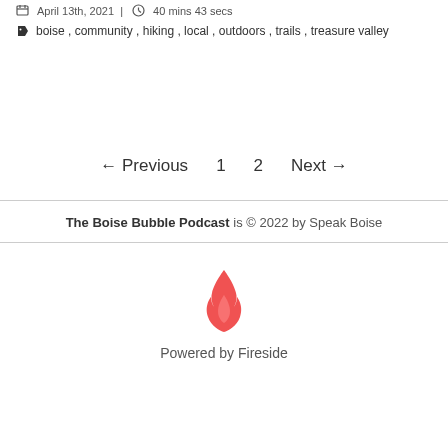April 13th, 2021 | 40 mins 43 secs
boise , community , hiking , local , outdoors , trails , treasure valley
← Previous   1   2   Next →
The Boise Bubble Podcast is © 2022 by Speak Boise
[Figure (logo): Fireside flame logo in red/coral color]
Powered by Fireside